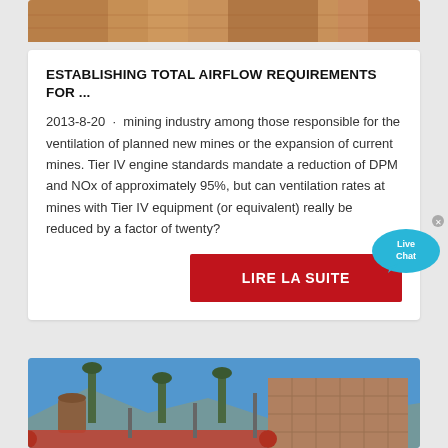[Figure (photo): Top portion of a mining/industrial site photo, warm brown tones]
ESTABLISHING TOTAL AIRFLOW REQUIREMENTS FOR ...
2013-8-20 · mining industry among those responsible for the ventilation of planned new mines or the expansion of current mines. Tier IV engine standards mandate a reduction of DPM and NOx of approximately 95%, but can ventilation rates at mines with Tier IV equipment (or equivalent) really be reduced by a factor of twenty?
[Figure (other): Live Chat bubble UI element]
LIRE LA SUITE
[Figure (photo): Industrial mining facility with tall green metal structures/pipes against blue sky, large brick building in background]